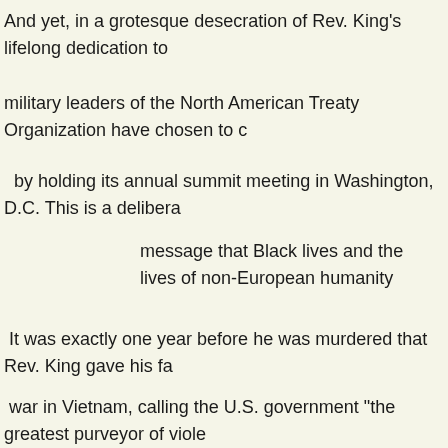And yet, in a grotesque desecration of Rev. King's lifelong dedication to
military leaders of the North American Treaty Organization have chosen to c
by holding its annual summit meeting in Washington, D.C. This is a delibera
message that Black lives and the lives of non-European humanity
It was exactly one year before he was murdered that Rev. King gave his fa
war in Vietnam, calling the U.S. government "the greatest purveyor of viole
that he could not be silent.
We cannot be silent either. Since its founding, the U.S.-led NATO has bee